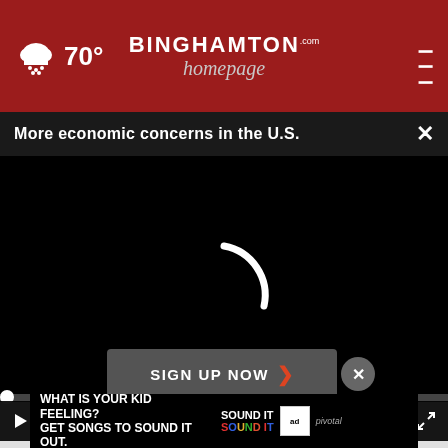70° Binghamton homepage.com
More economic concerns in the U.S. ×
[Figure (screenshot): Black video player with loading spinner arc in center, video controls bar at bottom with play button, mute icon, time 00:00, and fullscreen icon]
SIGN UP NOW ›
[Figure (photo): Advertisement banner: WHAT IS YOUR KID FEELING? GET SONGS TO SOUND IT OUT. Sound It Out, ad council, pivotal]